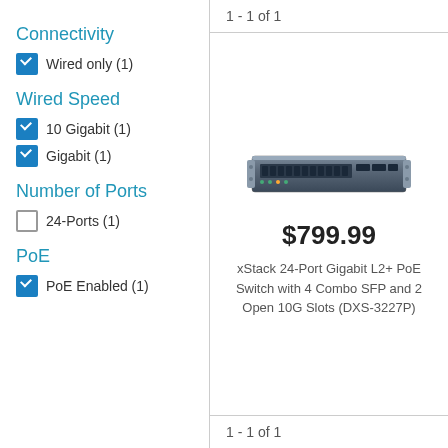1 - 1 of 1
Connectivity
Wired only (1)
Wired Speed
10 Gigabit (1)
Gigabit (1)
Number of Ports
24-Ports (1)
PoE
PoE Enabled (1)
[Figure (photo): Network switch product image - xStack 24-Port Gigabit L2+ PoE Switch]
$799.99
xStack 24-Port Gigabit L2+ PoE Switch with 4 Combo SFP and 2 Open 10G Slots (DXS-3227P)
1 - 1 of 1